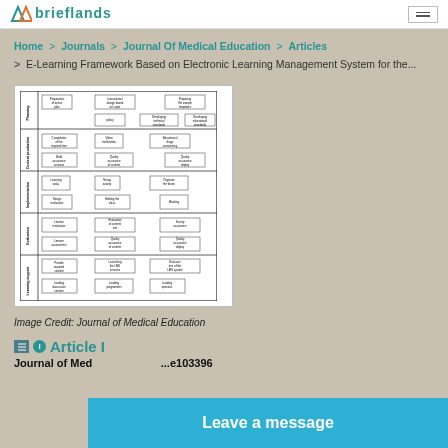Brieflands
Home > Journals > Journal Of Medical Education > Articles > E-Learning Framework Based on Electronic Learning Management System for the...
[Figure (flowchart): A framework diagram showing a structured grid with rows labeled Planning, Content production, Implementation, Evaluation, and Learning support, each containing boxes with small text describing activities and components of an E-Learning framework.]
Image Credit: Journal of Medical Education
Article Information
Journal of Medical Education ... e103396